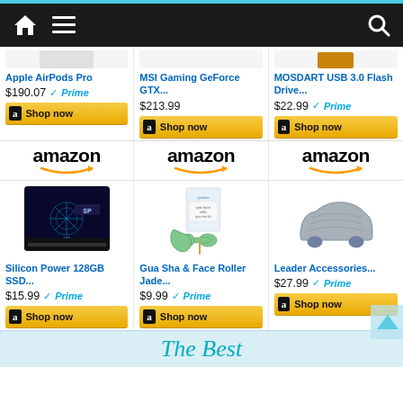[Figure (screenshot): Amazon shopping page screenshot showing navigation bar, product listings with prices and Shop now buttons]
Apple AirPods Pro
$190.07  Prime
MSI Gaming GeForce GTX...
$213.99
MOSDART USB 3.0 Flash Drive...
$22.99  Prime
Silicon Power 128GB SSD...
$15.99  Prime
Gua Sha & Face Roller Jade...
$9.99  Prime
Leader Accessories...
$27.99  Prime
The Best